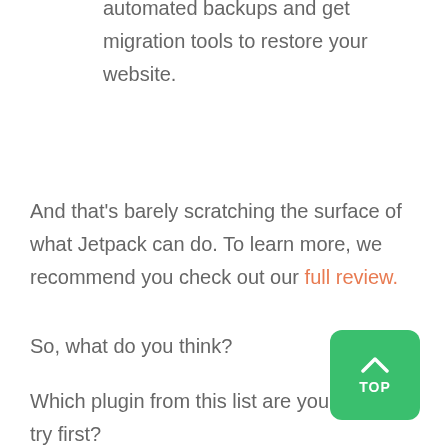automated backups and get migration tools to restore your website.
And that's barely scratching the surface of what Jetpack can do. To learn more, we recommend you check out our full review.
So, what do you think?
Which plugin from this list are you going to try first?
Also, don't forget to let us know your favorite plugin in the comments below!